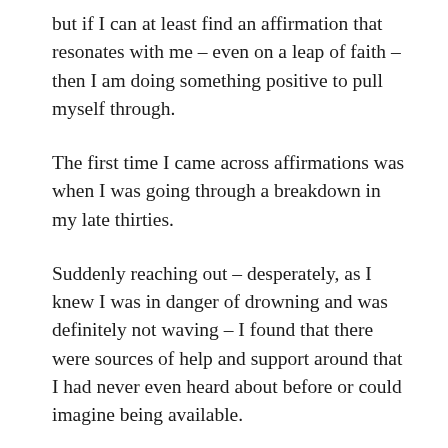but if I can at least find an affirmation that resonates with me – even on a leap of faith – then I am doing something positive to pull myself through.
The first time I came across affirmations was when I was going through a breakdown in my late thirties.
Suddenly reaching out – desperately, as I knew I was in danger of drowning and was definitely not waving – I found that there were sources of help and support around that I had never even heard about before or could imagine being available.